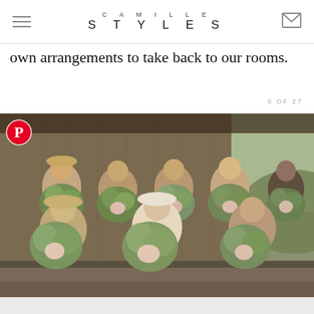CAMILLE STYLES
own arrangements to take back to our rooms.
6 OF 27
[Figure (photo): Group photo of eight women holding large flower arrangements in front of a rustic barn. Women are wearing casual clothes and hats. A Pinterest logo button overlays the top-left corner of the photo.]